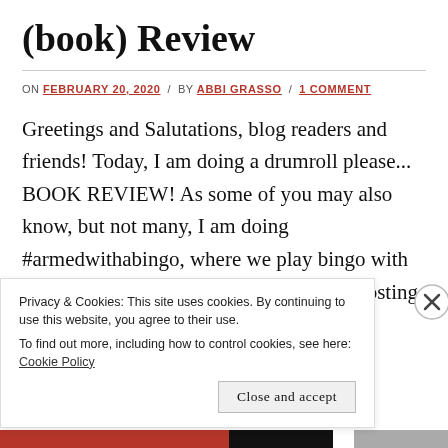(book) Review
ON FEBRUARY 20, 2020 / BY ABBI GRASSO / 1 COMMENT
Greetings and Salutations, blog readers and friends! Today, I am doing a drumroll please... BOOK REVIEW! As some of you may also know, but not many, I am doing #armedwithabingo, where we play bingo with reading books, and verify we read it by posting book
Privacy & Cookies: This site uses cookies. By continuing to use this website, you agree to their use.
To find out more, including how to control cookies, see here: Cookie Policy
Close and accept